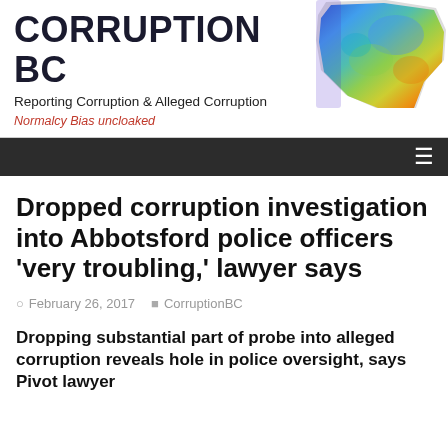CORRUPTION BC
Reporting Corruption & Alleged Corruption
Normalcy Bias uncloaked
[Figure (map): Topographic/elevation color map of British Columbia province]
Dropped corruption investigation into Abbotsford police officers 'very troubling,' lawyer says
February 26, 2017  CorruptionBC
Dropping substantial part of probe into alleged corruption reveals hole in police oversight, says Pivot lawyer